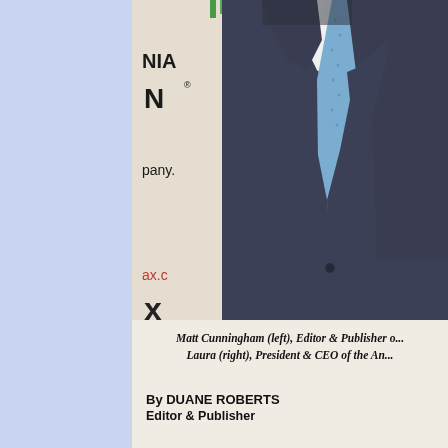[Figure (photo): Partial photo of a man in a dark navy suit with a light blue tie, standing in front of a banner showing partial text 'NIA', 'N', 'pany', 'ax.c', 'x', 'ocia'. The photo is cropped showing torso and lower face only.]
Matt Cunningham (left), Editor & Publisher of... Laura (right), President & CEO of the An...
By DUANE ROBERTS
Editor & Publisher